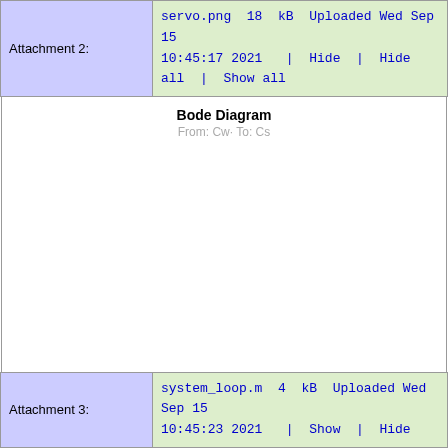|  |  |
| --- | --- |
| Attachment 2: | servo.png  18  kB  Uploaded Wed Sep 15 10:45:17 2021   |  Hide  |  Hide all  |  Show all |
[Figure (other): Bode Diagram placeholder image with title 'Bode Diagram' and subtitle 'From: Cw-  To: Cs'. The chart area is blank/white.]
|  |  |
| --- | --- |
| Attachment 3: | system_loop.m  4  kB  Uploaded Wed Sep 15 10:45:23 2021   |  Show  |  Hide |